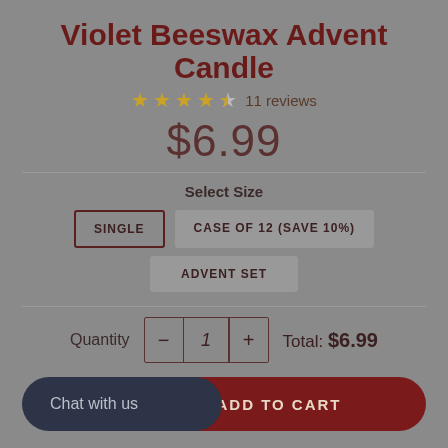Violet Beeswax Advent Candle
★★★★½ 11 reviews
$6.99
Select Size
SINGLE
CASE OF 12 (SAVE 10%)
ADVENT SET
Quantity  -  1  +   Total: $6.99
Chat with us  ADD TO CART